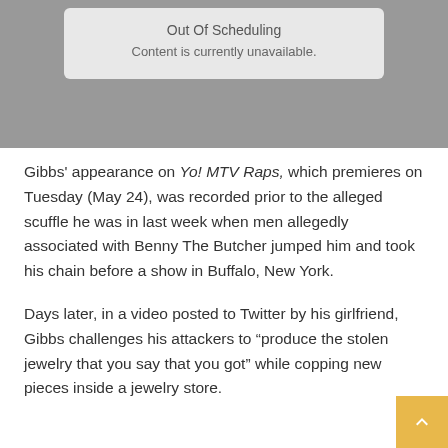[Figure (screenshot): Video player placeholder showing 'Out Of Scheduling' message with 'Content is currently unavailable.' text on a gray background with a light gray inner box]
Gibbs’ appearance on Yo! MTV Raps, which premieres on Tuesday (May 24), was recorded prior to the alleged scuffle he was in last week when men allegedly associated with Benny The Butcher jumped him and took his chain before a show in Buffalo, New York.
Days later, in a video posted to Twitter by his girlfriend, Gibbs challenges his attackers to “produce the stolen jewelry that you say that you got” while copping new pieces inside a jewelry store.